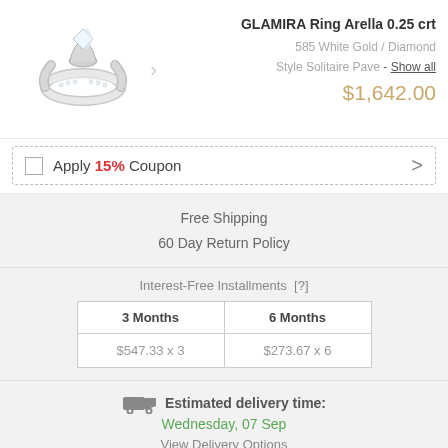[Figure (photo): Diamond engagement ring (GLAMIRA Ring Arella) in white gold with solitaire pave setting, shown at an angle]
GLAMIRA Ring Arella 0.25 crt
585 White Gold / Diamond
Style Solitaire Pave - Show all
$1,642.00
Apply 15% Coupon
Free Shipping
60 Day Return Policy
Interest-Free Installments [?]
| 3 Months | 6 Months |
| --- | --- |
| $547.33 x 3 | $273.67 x 6 |
Estimated delivery time:
Wednesday, 07 Sep
View Delivery Options
Select an Extended Protection Plan